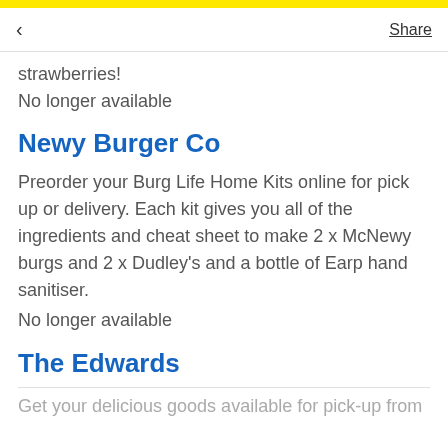< Share
strawberries!
No longer available
Newy Burger Co
Preorder your Burg Life Home Kits online for pick up or delivery. Each kit gives you all of the ingredients and cheat sheet to make 2 x McNewy burgs and 2 x Dudley's and a bottle of Earp hand sanitiser.
No longer available
The Edwards
Get your delicious goods available for pick-up from